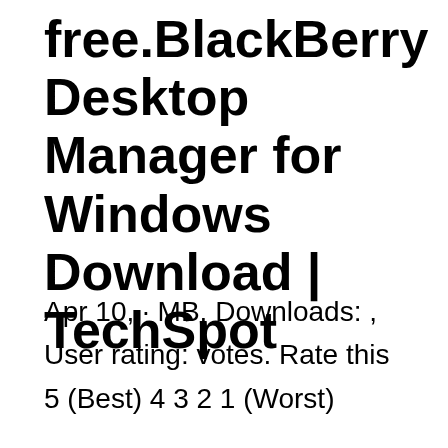free.BlackBerry Desktop Manager for Windows Download | TechSpot
Apr 10,  · MB. Downloads: , User rating: votes. Rate this 5 (Best) 4 3 2 1 (Worst)